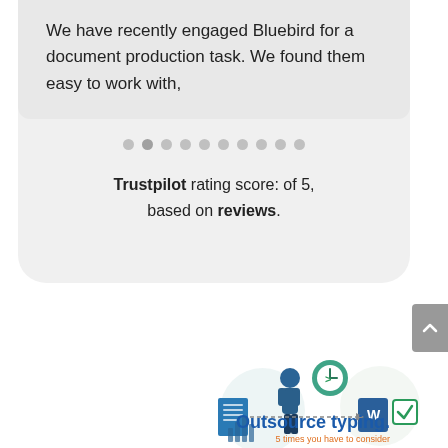We have recently engaged Bluebird for a document production task. We found them easy to work with,
[Figure (other): Carousel pagination dots, one slightly darker indicating active slide]
Trustpilot rating score: of 5, based on reviews.
[Figure (illustration): Illustration showing a person with document, clock, Word document icon, checkbox, and text 'Outsource typing. 5 times you have to consider']